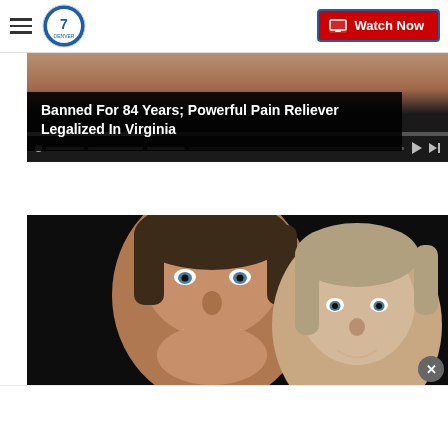Denver7 — Watch Now
[Figure (screenshot): Video thumbnail showing a close-up of hands, with playback progress bar and controls]
Banned For 84 Years; Powerful Pain Reliever Legalized In Virginia
[Figure (photo): Portrait photo of a man and woman smiling, dark background]
×